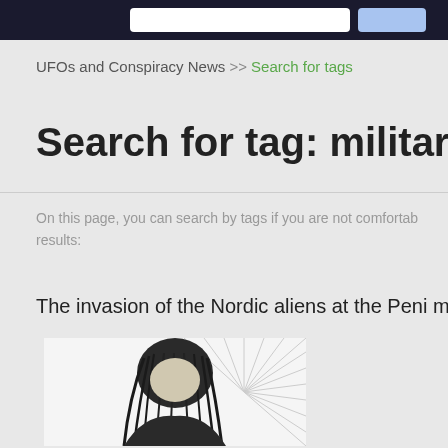UFOs and Conspiracy News >> Search for tags
Search for tag: military
On this page, you can search by tags if you are not comfortable results:
The invasion of the Nordic aliens at the Peni military ba
[Figure (illustration): Black and white illustration of a figure with long dark hair against radiating light lines background]